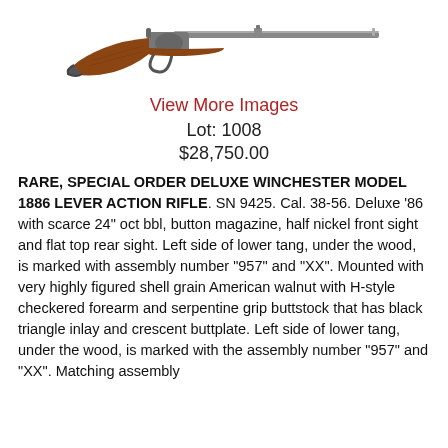[Figure (photo): Photograph of a lever action rifle with wooden stock, shown in profile facing right]
View More Images
Lot: 1008
$28,750.00
RARE, SPECIAL ORDER DELUXE WINCHESTER MODEL 1886 LEVER ACTION RIFLE. SN 9425. Cal. 38-56. Deluxe '86 with scarce 24" oct bbl, button magazine, half nickel front sight and flat top rear sight. Left side of lower tang, under the wood, is marked with assembly number "957" and "XX". Mounted with very highly figured shell grain American walnut with H-style checkered forearm and serpentine grip buttstock that has black triangle inlay and crescent buttplate. Left side of lower tang, under the wood, is marked with the assembly number "957" and "XX". Matching assembly